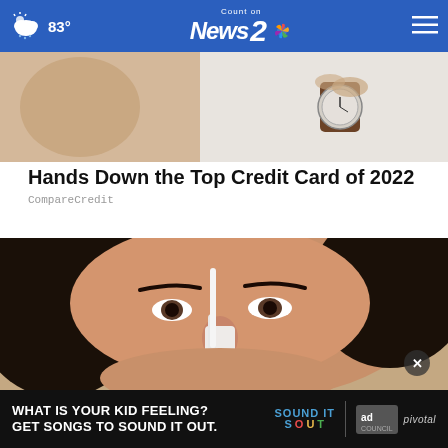83° Count on News 2
[Figure (photo): Person in white shirt holding a watch with a brown leather strap, hands visible against light background]
Hands Down the Top Credit Card of 2022
CompareCredit
[Figure (photo): Close-up of a woman with dark hair applying something white near her nose]
[Figure (other): Advertisement banner: WHAT IS YOUR KID FEELING? GET SONGS TO SOUND IT OUT. Sound It Out logo, ad council badge, pivotal branding]